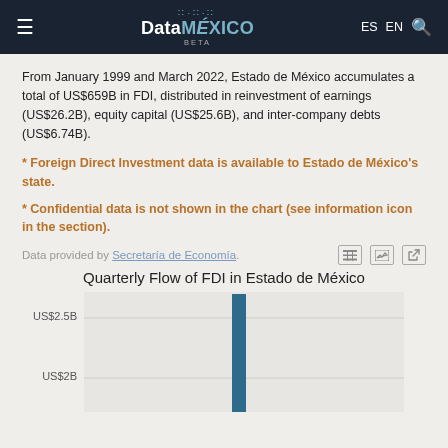≡  DataMÉXICO BETA  ES  EN  🔍
From January 1999 and March 2022, Estado de México accumulates a total of US$659B in FDI, distributed in reinvestment of earnings (US$26.2B), equity capital (US$25.6B), and inter-company debts (US$6.74B).
* Foreign Direct Investment data is available to Estado de México's state.
* Confidential data is not shown in the chart (see information icon in the section).
Data provided by Secretaría de Economía.
Quarterly Flow of FDI in Estado de México
[Figure (bar-chart): Partial bar chart showing quarterly FDI flow, with one tall bar reaching above US$2.5B visible, y-axis labels US$2.5B and US$2B shown. Chart is cut off at bottom of page.]